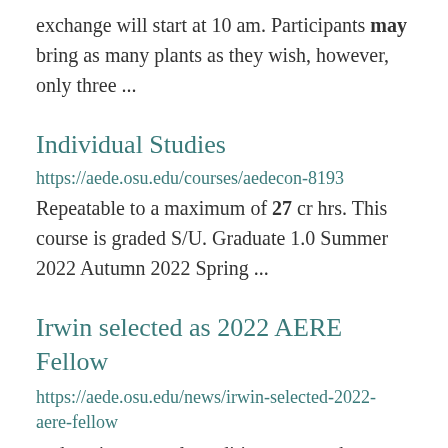exchange will start at 10 am. Participants may bring as many plants as they wish, however, only three ...
Individual Studies
https://aede.osu.edu/courses/aedecon-8193
Repeatable to a maximum of 27 cr hrs. This course is graded S/U. Graduate 1.0 Summer 2022 Autumn 2022 Spring ...
Irwin selected as 2022 AERE Fellow
https://aede.osu.edu/news/irwin-selected-2022-aere-fellow
and environmental conditions across the